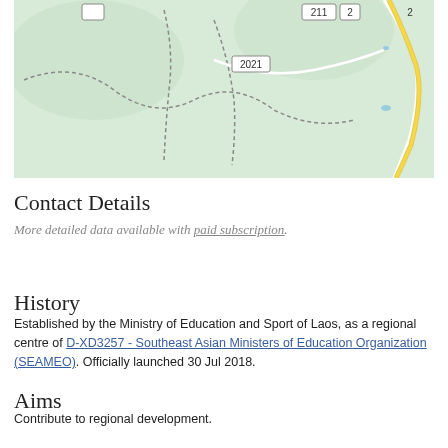[Figure (map): Topographic map showing roads labeled 211 and 2, with route 2021 marker, green terrain, yellow road, and dotted boundary lines in Southeast Asia (Laos region).]
Contact Details
More detailed data available with paid subscription.
History
Established by the Ministry of Education and Sport of Laos, as a regional centre of D-XD3257 - Southeast Asian Ministers of Education Organization (SEAMEO). Officially launched 30 Jul 2018.
Aims
Contribute to regional development.
Activities
Available with paid subscription only.